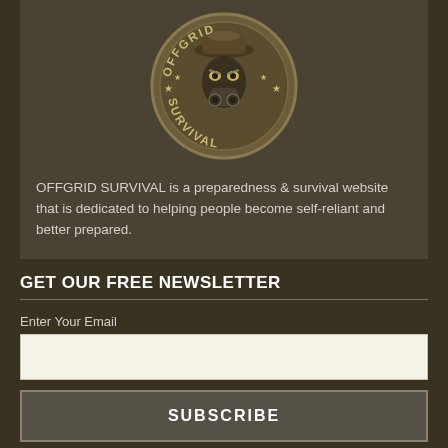[Figure (logo): Offgrid Survival circular logo badge featuring a masked figure wearing a cowboy hat, with the text OFFGRID on top arc and SURVIVAL on bottom arc, with stars on the sides]
OFFGRID SURVIVAL is a preparedness & survival website that is dedicated to helping people become self-reliant and better prepared.
GET OUR FREE NEWSLETTER
Enter Your Email
SUBSCRIBE
CONNECT WITH US